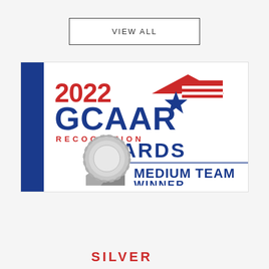VIEW ALL
[Figure (logo): 2022 GCAAR Recognition Awards - Medium Team Winner Silver badge with silver ribbon/medal graphic and American flag motif]